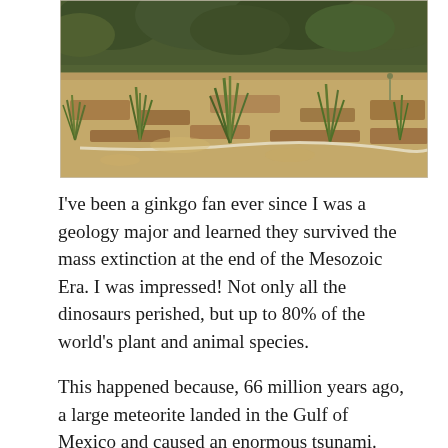[Figure (photo): Outdoor garden photo showing low green plants and ornamental grasses growing from dry mulched/wood-chip ground. Larger leafy plants visible in background. Sunny day with dappled light and shadows.]
I've been a ginkgo fan ever since I was a geology major and learned they survived the mass extinction at the end of the Mesozoic Era. I was impressed! Not only all the dinosaurs perished, but up to 80% of the world's plant and animal species.
This happened because, 66 million years ago, a large meteorite landed in the Gulf of Mexico and caused an enormous tsunami. The climate was disrupted.